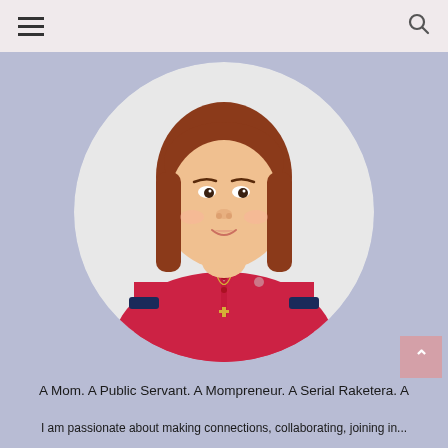[Figure (photo): Circular profile photo of a woman with reddish-brown straight hair, wearing a red polo shirt with navy blue collar detail and a cross necklace, against a white background, set within a circular crop on a lavender/blue-grey background.]
A Mom. A Public Servant. A Mompreneur. A Serial Raketera. A Blogger. A Social Media Marketing Specialist. An Events Host on the side. A Senior Events Coordinator. a Marketing Assistant at yLemworks. Ultimately, a Multiple Heartbreak Survivor. Hahaha.
I am passionate about making connections, collaborating, joining in...